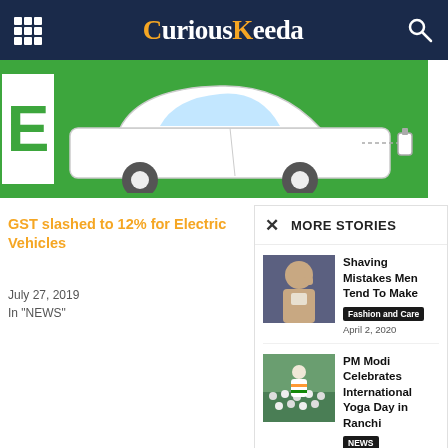CuriousKeeda
[Figure (illustration): Electric vehicle charging illustration with green background and car image, with large letter E on left]
GST slashed to 12% for Electric Vehicles
July 27, 2019
In "NEWS"
MORE STORIES
[Figure (photo): Man shaving, touching face]
Shaving Mistakes Men Tend To Make
Fashion and Care   April 2, 2020
[Figure (photo): PM Modi doing yoga with crowd at international yoga day in Ranchi]
PM Modi Celebrates International Yoga Day in Ranchi
NEWS   June 21, 2019